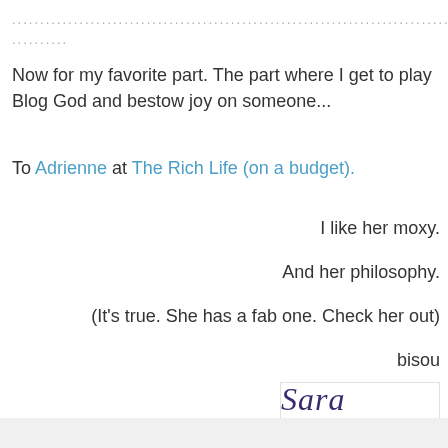..............................................................................................................
Now for my favorite part. The part where I get to play Blog God and bestow joy on someone...
To Adrienne at The Rich Life (on a budget).
I like her moxy.
And her philosophy.
(It's true. She has a fab one. Check her out)
bisou
[Figure (illustration): Handwritten cursive signature reading 'Sara Louise' in dark purple ink on white background with light border]